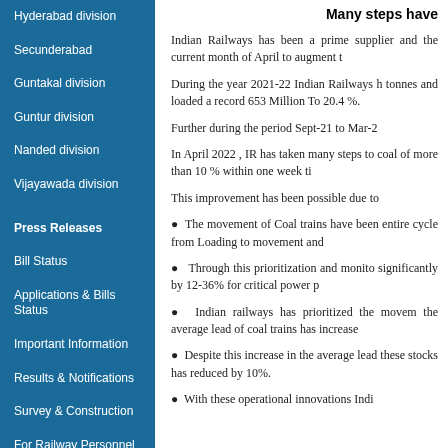Hyderabad division
Secunderabad
Guntakal division
Guntur division
Nanded division
Vijayawada division
Press Releases
Bill Status
Applications & Bills Status
Important Information
Results & Notifications
Survey & Construction
For Railway Personnel
Registration Policy for Vendors
Other information
FREQUENTLY ASKED QUESTIONS BY VENDORS:
Downloads
Procedure & Application Forms
Many steps have
Indian Railways has been a prime supplier and the current month of April to augment t
During the year 2021-22 Indian Railways h tonnes and loaded a record 653 Million To 20.4 %.
Further during the period Sept-21 to Mar-2
In April 2022 , IR has taken many steps to coal of more than 10 % within one week ti
This improvement has been possible due to
The movement of Coal trains have been entire cycle from Loading to movement and
Through this prioritization and monito significantly by 12-36% for critical power p
Indian railways has prioritized the movem the average lead of coal trains has increase
Despite this increase in the average lead these stocks has reduced by 10%.
With these operational innovations Indi